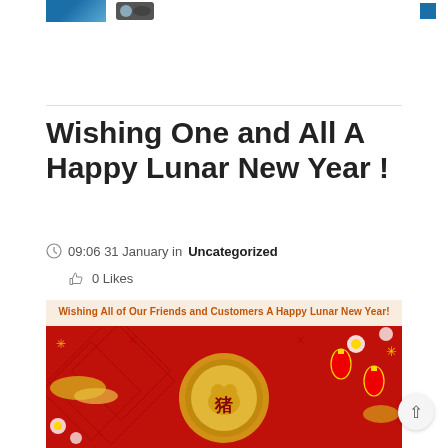[Figure (screenshot): Top navigation bar with blue image thumbnail and dark accessory image on left, small blue icon on right]
Wishing One and All A Happy Lunar New Year !
09:06 31 January in Uncategorized
0  Likes
[Figure (photo): Lunar New Year greeting card image with red background, gold decorations, lanterns, flowers, and a pig zodiac symbol in the center circle. Header text reads: Wishing All of Our Friends and Customers A Happy Lunar New Year!]